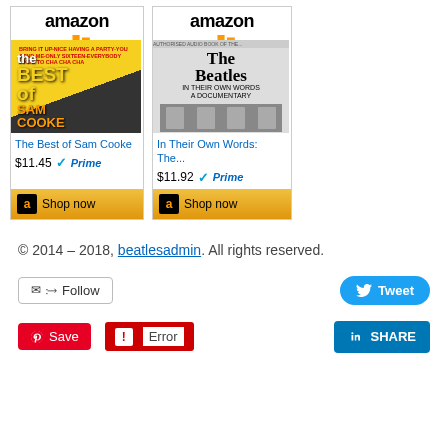[Figure (other): Amazon product card for 'The Best of Sam Cooke' showing Amazon logo, product image, title in blue, price $11.45, Prime badge, and Shop now button]
[Figure (other): Amazon product card for 'In Their Own Words: The...' showing Amazon logo, product image, title in blue, price $11.92, Prime badge, and Shop now button]
© 2014 – 2018, beatlesadmin. All rights reserved.
[Figure (other): Follow button with email and RSS icons]
[Figure (other): Tweet button with Twitter bird icon]
[Figure (other): LinkedIn SHARE button]
[Figure (other): Pinterest Save button]
[Figure (other): Error button with exclamation icon]